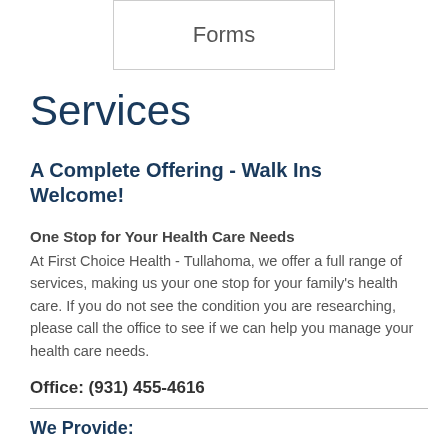[Figure (other): A bordered box labeled 'Forms']
Services
A Complete Offering - Walk Ins Welcome!
One Stop for Your Health Care Needs
At First Choice Health - Tullahoma, we offer a full range of services, making us your one stop for your family's health care. If you do not see the condition you are researching, please call the office to see if we can help you manage your health care needs.
Office: (931) 455-4616
We Provide: